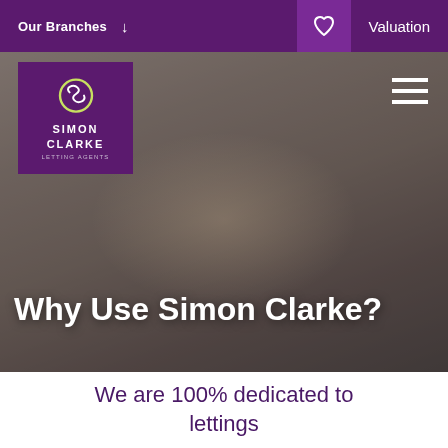Our Branches ↓   Valuation
[Figure (screenshot): Website screenshot of Simon Clarke Letting Agents. A couple sits on a sofa surrounded by moving boxes, looking at a laptop. The hero image is overlaid with the headline 'Why Use Simon Clarke?'. Top navigation bar contains 'Our Branches' on the left and a heart icon plus 'Valuation' on the right.]
Why Use Simon Clarke?
We are 100% dedicated to lettings